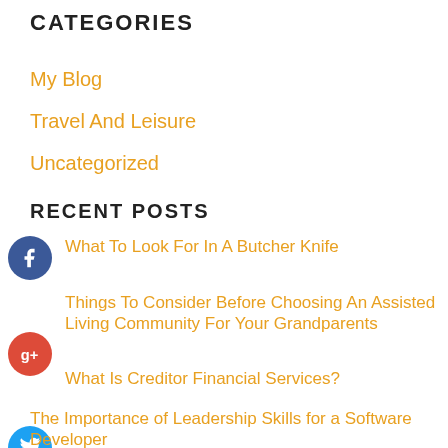CATEGORIES
My Blog
Travel And Leisure
Uncategorized
RECENT POSTS
What To Look For In A Butcher Knife
Things To Consider Before Choosing An Assisted Living Community For Your Grandparents
What Is Creditor Financial Services?
The Importance of Leadership Skills for a Software Developer